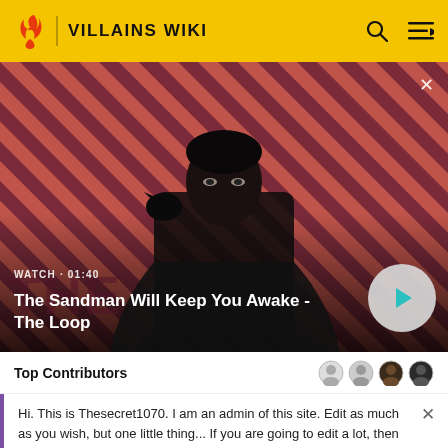VILLAINS WIKI
[Figure (screenshot): Video banner showing a dark figure with a raven on their shoulder against a red and dark striped background. Text reads WATCH · 01:40 and The Sandman Will Keep You Awake - The Loop. A play button circle is visible bottom right. A close X is top right.]
Top Contributors
Hi. This is Thesecret1070. I am an admin of this site. Edit as much as you wish, but one little thing... If you are going to edit a lot, then make yourself a user and login. Other than that, enjoy Villains Wiki!!!